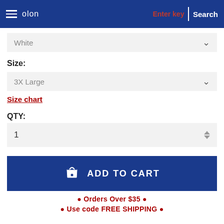Enter key | Search
White (color dropdown)
Size:
3X Large (size dropdown)
Size chart
QTY:
1 (quantity spinner)
ADD TO CART
• Orders Over $35 •
• Use code FREE SHIPPING •